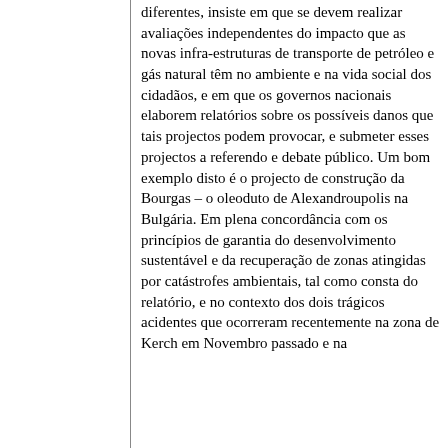diferentes, insiste em que se devem realizar avaliações independentes do impacto que as novas infra-estruturas de transporte de petróleo e gás natural têm no ambiente e na vida social dos cidadãos, e em que os governos nacionais elaborem relatórios sobre os possíveis danos que tais projectos podem provocar, e submeter esses projectos a referendo e debate público. Um bom exemplo disto é o projecto de construção da Bourgas – o oleoduto de Alexandroupolis na Bulgária. Em plena concordância com os princípios de garantia do desenvolvimento sustentável e da recuperação de zonas atingidas por catástrofes ambientais, tal como consta do relatório, e no contexto dos dois trágicos acidentes que ocorreram recentemente na zona de Kerch em Novembro passado e na